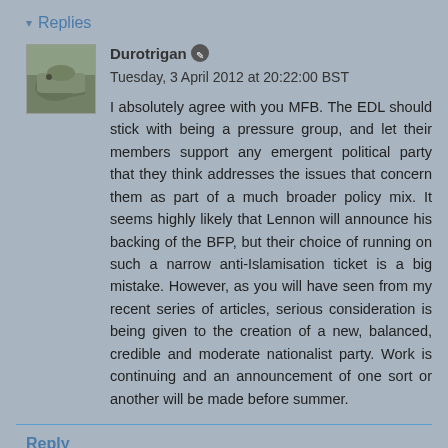▾ Replies
Durotrigan ✎ Tuesday, 3 April 2012 at 20:22:00 BST
I absolutely agree with you MFB. The EDL should stick with being a pressure group, and let their members support any emergent political party that they think addresses the issues that concern them as part of a much broader policy mix. It seems highly likely that Lennon will announce his backing of the BFP, but their choice of running on such a narrow anti-Islamisation ticket is a big mistake. However, as you will have seen from my recent series of articles, serious consideration is being given to the creation of a new, balanced, credible and moderate nationalist party. Work is continuing and an announcement of one sort or another will be made before summer.
Reply